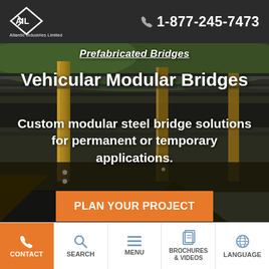Atlantic Industries Limited | 1-877-245-7473
[Figure (photo): Close-up photo of modular steel bridge structure showing steel beams, posts, and guardrails]
Vehicular Modular Bridges
Custom modular steel bridge solutions for permanent or temporary applications.
PLAN YOUR PROJECT
CONTACT | SEARCH | MENU | BROCHURES & VIDEOS | LANGUAGE